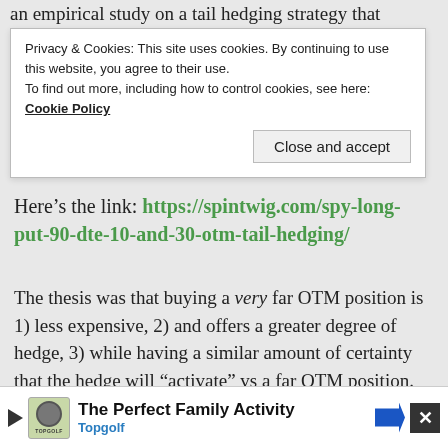an empirical study on a tail hedging strategy that
Privacy & Cookies: This site uses cookies. By continuing to use this website, you agree to their use.
To find out more, including how to control cookies, see here: Cookie Policy
Close and accept
Here’s the link: https://spintwig.com/spy-long-put-90-dte-10-and-30-otm-tail-hedging/
The thesis was that buying a very far OTM position is 1) less expensive, 2) and offers a greater degree of hedge, 3) while having a similar amount of certainty that the hedge will “activate” vs a far OTM position. 30% and 10% OTM were the respective definitions of “very far” and “far.”
The premise is that Volga (the rate of change of
[Figure (other): Advertisement banner for Topgolf - The Perfect Family Activity]